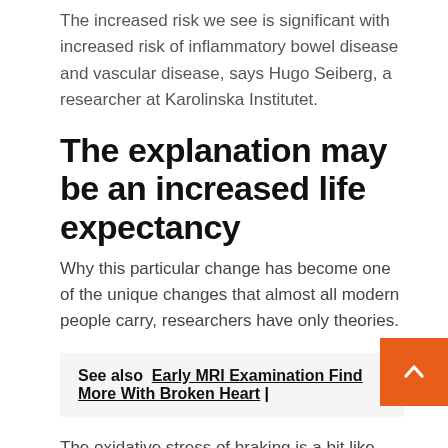The increased risk we see is significant with increased risk of inflammatory bowel disease and vascular disease, says Hugo Seiberg, a researcher at Karolinska Institutet.
The explanation may be an increased life expectancy
Why this particular change has become one of the unique changes that almost all modern people carry, researchers have only theories.
See also  Early MRI Examination Find More With Broken Heart |
The oxidative stress of braking is a bit like preventing something from rusting too much. Perhaps the fact